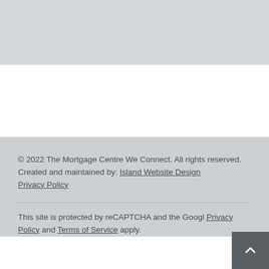© 2022 The Mortgage Centre We Connect. All rights reserved.
Created and maintained by: Island Website Design
Privacy Policy
This site is protected by reCAPTCHA and the Google Privacy Policy and Terms of Service apply.